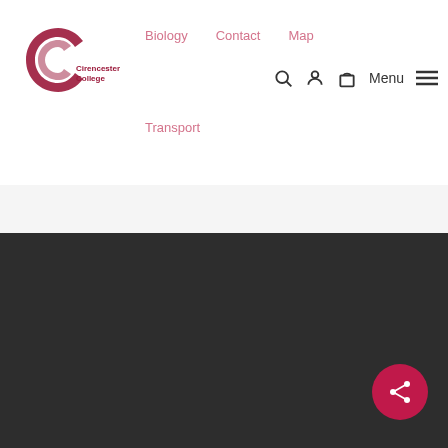[Figure (logo): Cirencester College logo with stylized C and text]
Biology   Contact   Map   Transport   Menu
Previous Post
Cirencester College Geology Students Come Second in National Geology Competition